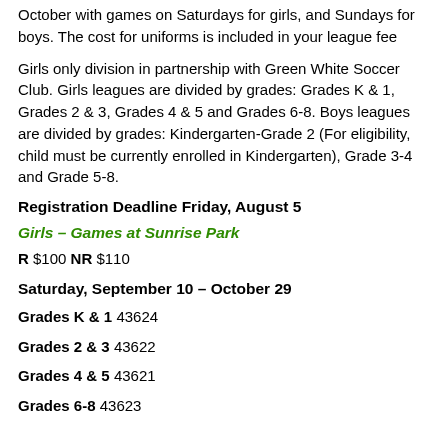October with games on Saturdays for girls, and Sundays for boys. The cost for uniforms is included in your league fee
Girls only division in partnership with Green White Soccer Club. Girls leagues are divided by grades: Grades K & 1, Grades 2 & 3, Grades 4 & 5 and Grades 6-8. Boys leagues are divided by grades: Kindergarten-Grade 2 (For eligibility, child must be currently enrolled in Kindergarten), Grade 3-4 and Grade 5-8.
Registration Deadline Friday, August 5
Girls  – Games at Sunrise Park
R $100 NR $110
Saturday, September 10 – October 29
Grades K & 1 43624
Grades 2 & 3 43622
Grades 4 & 5 43621
Grades 6-8 43623